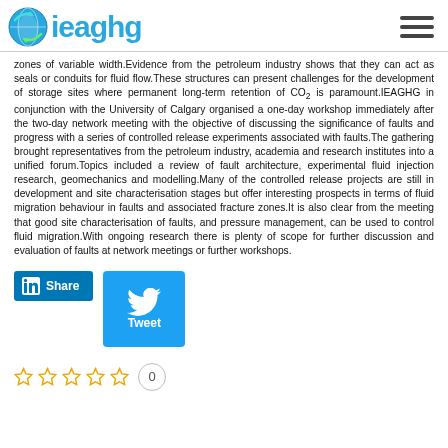ieaghg
zones of variable width.Evidence from the petroleum industry shows that they can act as seals or conduits for fluid flow.These structures can present challenges for the development of storage sites where permanent long-term retention of CO2 is paramount.IEAGHG in conjunction with the University of Calgary organised a one-day workshop immediately after the two-day network meeting with the objective of discussing the significance of faults and progress with a series of controlled release experiments associated with faults.The gathering brought representatives from the petroleum industry, academia and research institutes into a unified forum.Topics included a review of fault architecture, experimental fluid injection research, geomechanics and modelling.Many of the controlled release projects are still in development and site characterisation stages but offer interesting prospects in terms of fluid migration behaviour in faults and associated fracture zones.It is also clear from the meeting that good site characterisation of faults, and pressure management, can be used to control fluid migration.With ongoing research there is plenty of scope for further discussion and evaluation of faults at network meetings or further workshops.
[Figure (other): LinkedIn Share button and Twitter Tweet button]
[Figure (other): Star rating row showing 5 empty stars and a count of 0]